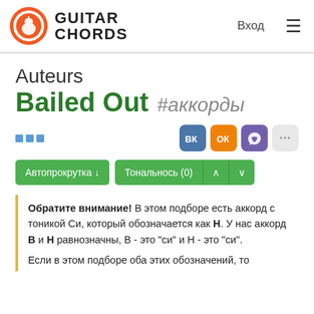Guitar Chords — Вход (navigation header)
Auteurs
Bailed Out #аккорды
Автопрокрутка ↓   Тональнось (0) ∧ ∨
Обратите внимание! В этом подборе есть аккорд с тоникой Си, который обозначается как Н. У нас аккорд В и Н равнозначны, В - это "си" и Н - это "си".
Если в этом подборе оба этих обозначений, то